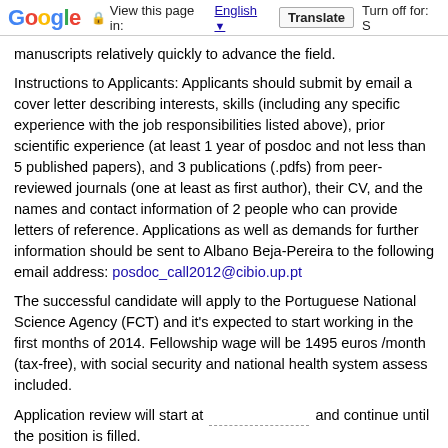Google  View this page in: English [▼]  Translate  Turn off for: S
manuscripts relatively quickly to advance the field.
Instructions to Applicants: Applicants should submit by email a cover letter describing interests, skills (including any specific experience with the job responsibilities listed above), prior scientific experience (at least 1 year of posdoc and not less than 5 published papers), and 3 publications (.pdfs) from peer-reviewed journals (one at least as first author), their CV, and the names and contact information of 2 people who can provide letters of reference. Applications as well as demands for further information should be sent to Albano Beja-Pereira to the following email address: posdoc_call2012@cibio.up.pt
The successful candidate will apply to the Portuguese National Science Agency (FCT) and it's expected to start working in the first months of 2014. Fellowship wage will be 1495 euros /month (tax-free), with social security and national health system assess included.
Application review will start at ............ and continue until the position is filled.